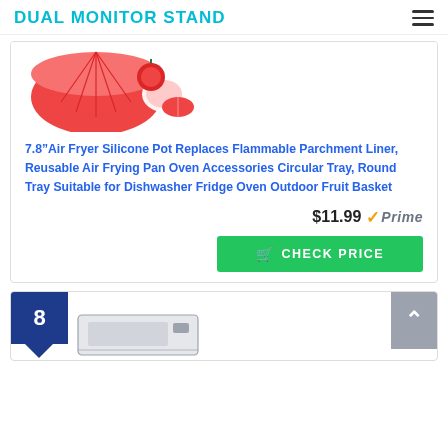DUAL MONITOR STAND
[Figure (photo): Red silicone air fryer pot with tomatoes on white background]
7.8”Air Fryer Silicone Pot Replaces Flammable Parchment Liner, Reusable Air Frying Pan Oven Accessories Circular Tray, Round Tray Suitable for Dishwasher Fridge Oven Outdoor Fruit Basket
$11.99 ✓Prime
CHECK PRICE
8